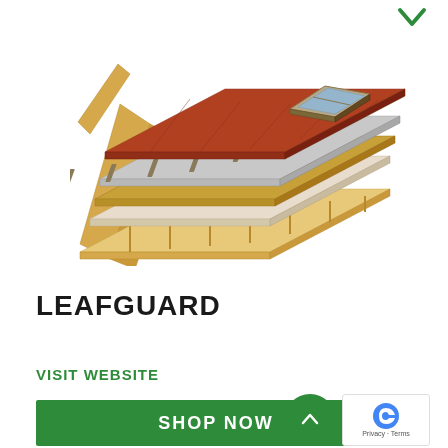[Figure (illustration): Exploded view illustration of roof construction layers showing timber framing, insulation boards, battens, underlays, and a red roof tile surface with a skylight window]
LEAFGUARD
VISIT WEBSITE
SHOP NOW
BOOTH: 336